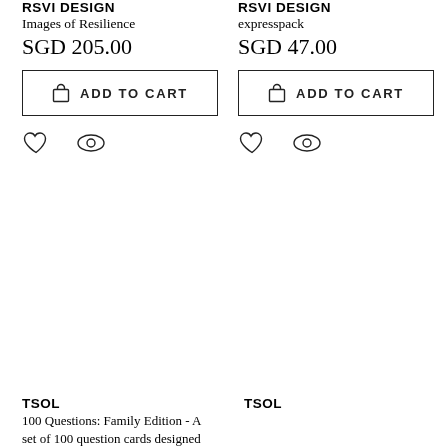RSVI DESIGN
Images of Resilience
SGD 205.00
ADD TO CART
RSVI DESIGN
expresspack
SGD 47.00
ADD TO CART
TSOL
100 Questions: Family Edition - A set of 100 question cards designed
TSOL